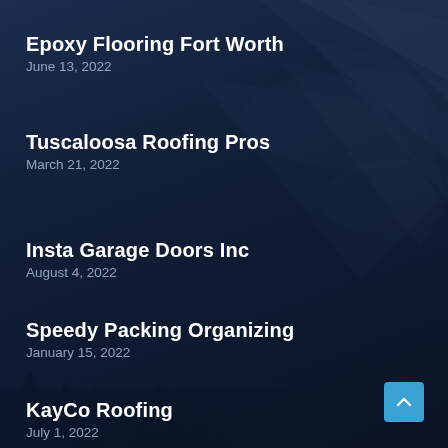Epoxy Flooring Fort Worth
June 13, 2022
Tuscaloosa Roofing Pros
March 21, 2022
Insta Garage Doors Inc
August 4, 2022
Speedy Packing Organizing
January 15, 2022
KayCo Roofing
July 1, 2022